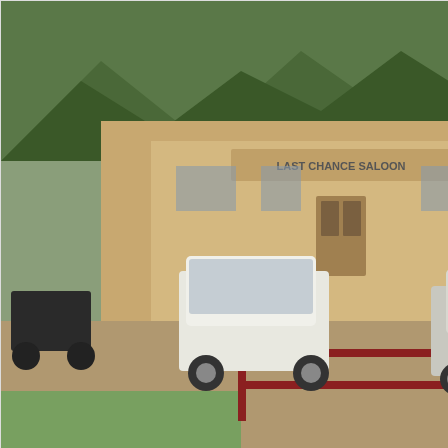[Figure (photo): Photograph of a western-style building labeled 'Last Chance Saloon' with motorcycles parked in the lot and two white/silver cars in the foreground, surrounded by trees and mountains]
September 21, 2014
[Figure (map): Google Maps view showing the area around Calgary, Alberta, Canada, including towns such as Didsbury, Crossfield, Airdrie, Chestermere, and Drumheller direction. Roads including Highway 2, 24, 72, 791, 587, 575, 566, 564, 201 are visible.]